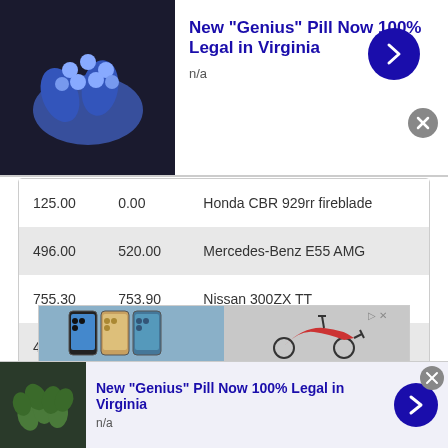[Figure (screenshot): Top advertisement banner: New 'Genius' Pill Now 100% Legal in Virginia, n/a, with pill image and blue arrow button]
| 125.00 | 0.00 | Honda CBR 929rr fireblade |
| 496.00 | 520.00 | Mercedes-Benz E55 AMG |
| 755.30 | 753.90 | Nissan 300ZX TT |
| 400.00 | 405.00 | Subaru Legacy 3.0r Spec B |
Click HERE for the top 100 dyno graphs.
[Figure (screenshot): Advertisement strip showing smartphones and a scooter image]
[Figure (screenshot): Bottom advertisement banner: New 'Genius' Pill Now 100% Legal in Virginia, n/a, with green pills image and blue arrow button]